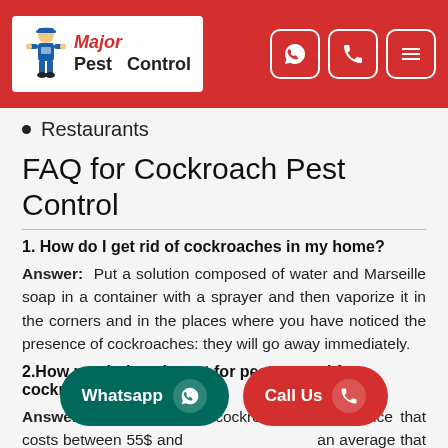[Figure (logo): Major Pest Control logo with cartoon pest control worker and red italic text]
Restaurants
FAQ for Cockroach Pest Control
1. How do I get rid of cockroaches in my home?
Answer: Put a solution composed of water and Marseille soap in a container with a sprayer and then vaporize it in the corners and in the places where you have noticed the presence of cockroaches: they will go away immediately.
2.How much does it cost for pest control for cockroaches?
Answer: Pest control for cockroaches is a service that costs between 55$ and ... an average that varies between 70$ and 150$.